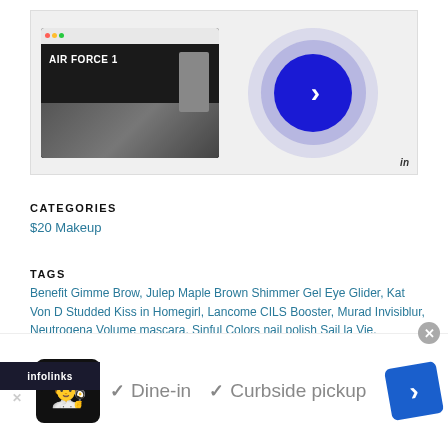[Figure (screenshot): Screenshot of a Nike Air Force 1 webpage with a browser mockup on the left showing a dark background with shoe imagery, and a blue play button chevron on the right side with concentric blue/purple circles. InfographicLinks watermark at bottom right.]
CATEGORIES
$20 Makeup
TAGS
Benefit Gimme Brow, Julep Maple Brown Shimmer Gel Eye Glider, Kat Von D Studded Kiss in Homegirl, Lancome CILS Booster, Murad Invisiblur, Neutrogena Volume mascara, Sinful Colors nail polish Sail la Vie, Supergoop! CC
[Figure (screenshot): Infolinks advertisement bar and a restaurant ad banner showing chef icon, Dine-in and Curbside pickup options with checkmarks, and a blue diamond navigation arrow.]